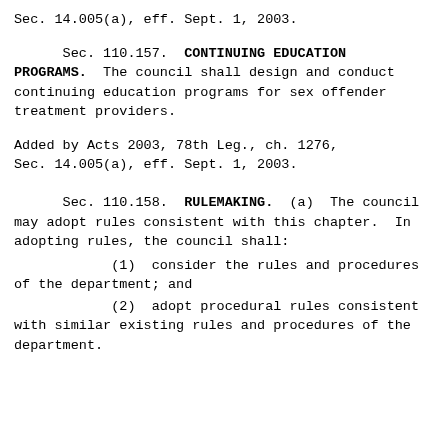Sec. 14.005(a), eff. Sept. 1, 2003.
Sec. 110.157.  CONTINUING EDUCATION PROGRAMS.  The council shall design and conduct continuing education programs for sex offender treatment providers.
Added by Acts 2003, 78th Leg., ch. 1276, Sec. 14.005(a), eff. Sept. 1, 2003.
Sec. 110.158.  RULEMAKING.  (a)  The council may adopt rules consistent with this chapter.  In adopting rules, the council shall:
(1)  consider the rules and procedures of the department; and
(2)  adopt procedural rules consistent with similar existing rules and procedures of the department.